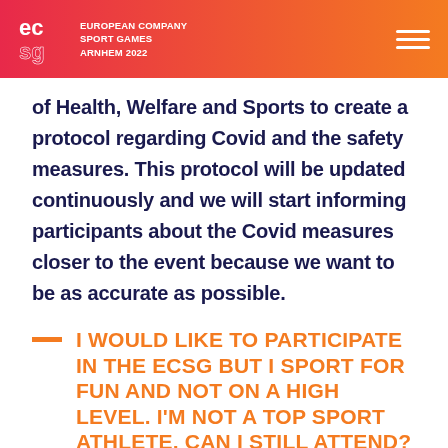EUROPEAN COMPANY SPORT GAMES ARNHEM 2022
of Health, Welfare and Sports to create a protocol regarding Covid and the safety measures. This protocol will be updated continuously and we will start informing participants about the Covid measures closer to the event because we want to be as accurate as possible.
I WOULD LIKE TO PARTICIPATE IN THE ECSG BUT I SPORT FOR FUN AND NOT ON A HIGH LEVEL. I'M NOT A TOP SPORT ATHLETE, CAN I STILL ATTEND?
Off course you can attend if you're not a